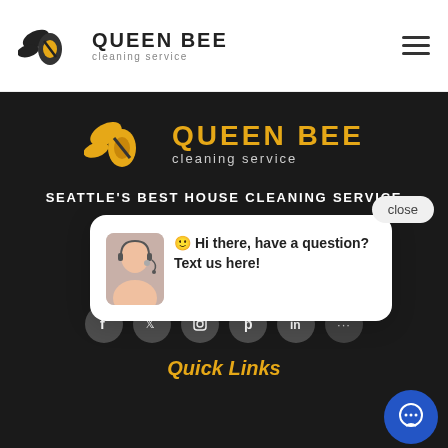[Figure (logo): Queen Bee Cleaning Service logo in top navigation bar (black text, gold bee icon)]
[Figure (logo): Queen Bee Cleaning Service large logo in dark section (gold/black colors with bee icon)]
SEATTLE'S BEST HOUSE CLEANING SERVICE
Get in Touch
425-786-1360
close
[Figure (screenshot): Chat popup with female customer service avatar and text: Hi there, have a question? Text us here!]
[Figure (infographic): Social media icons row: Facebook, Twitter, Instagram, Pinterest, LinkedIn]
Quick Links